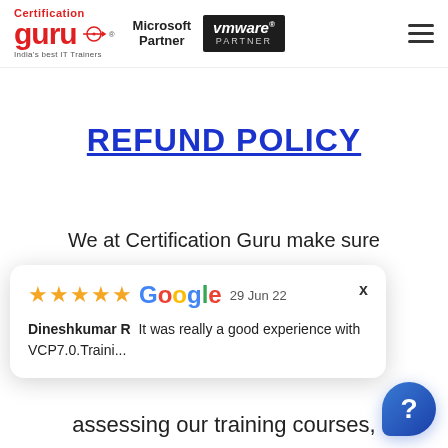[Figure (logo): Certification Guru logo with India's best IT Trainers tagline, Microsoft Partner text, VMware Partner badge, and hamburger menu icon]
REFUND POLICY
We at Certification Guru make sure
[Figure (screenshot): Google review popup showing 5 stars, date 29 Jun 22, reviewer Dineshkumar R with text 'It was really a good experience with VCP7.0.Traini...' and close X button]
assessing our training courses,